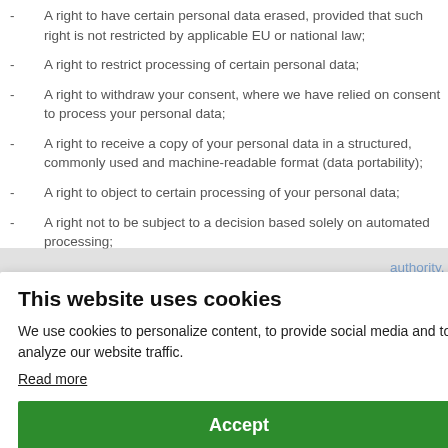- A right to have certain personal data erased, provided that such right is not restricted by applicable EU or national law;
- A right to restrict processing of certain personal data;
- A right to withdraw your consent, where we have relied on consent to process your personal data;
- A right to receive a copy of your personal data in a structured, commonly used and machine-readable format (data portability);
- A right to object to certain processing of your personal data;
- A right not to be subject to a decision based solely on automated processing;
[Figure (screenshot): Cookie consent banner overlay with title 'This website uses cookies', body text about cookie usage, a 'Read more' link, and a green 'Accept' button. Behind the banner are partially visible list items about data protection rights.]